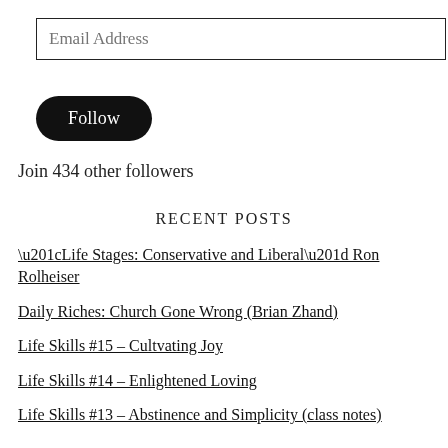Email Address
Follow
Join 434 other followers
RECENT POSTS
“Life Stages: Conservative and Liberal” Ron Rolheiser
Daily Riches: Church Gone Wrong (Brian Zhand)
Life Skills #15 – Cultvating Joy
Life Skills #14 – Enlightened Loving
Life Skills #13 – Abstinence and Simplicity (class notes)